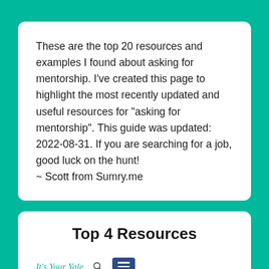These are the top 20 resources and examples I found about asking for mentorship. I've created this page to highlight the most recently updated and useful resources for "asking for mentorship". This guide was updated: 2022-08-31. If you are searching for a job, good luck on the hunt!
~ Scott from Sumry.me
Top 4 Resources
[Figure (screenshot): Screenshot of 'It's Your Yale' website header with teal logo text, a search icon, and a dark blue hamburger menu button]